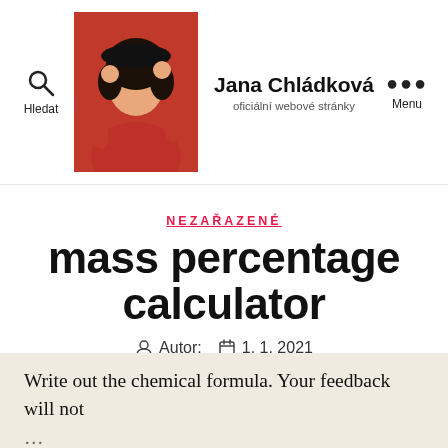Jana Chládková — oficiální webové stránky
NEZAŘAZENÉ
mass percentage calculator
Autor: 1. 1. 2021
Write out the chemical formula. Your feedback will not ...